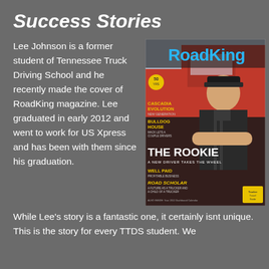Success Stories
Lee Johnson is a former student of Tennessee Truck Driving School and he recently made the cover of RoadKing magazine. Lee graduated in early 2012 and went to work for US Xpress and has been with them since his graduation.
[Figure (photo): Cover of RoadKing magazine featuring a young male truck driver with arms crossed in front of a red semi truck. Headline reads 'THE ROOKIE - A NEW DRIVER TAKES THE WHEEL'. Other headlines include CASCADIA EVOLUTION, BULLDOG HOUSE, WELL PAID, ROAD SCHOLAR.]
While Lee's story is a fantastic one, it certainly isnt unique. This is the story for every TTDS student. We